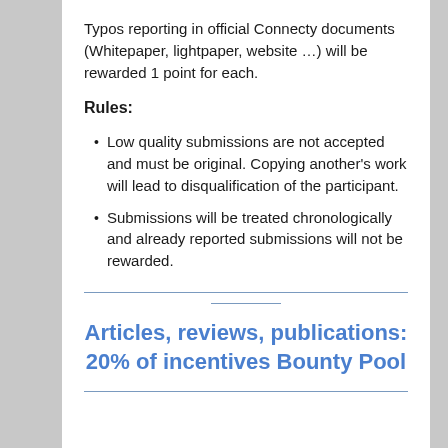Typos reporting in official Connecty documents (Whitepaper, lightpaper, website …) will be rewarded 1 point for each.
Rules:
Low quality submissions are not accepted and must be original. Copying another's work will lead to disqualification of the participant.
Submissions will be treated chronologically and already reported submissions will not be rewarded.
Articles, reviews, publications: 20% of incentives Bounty Pool